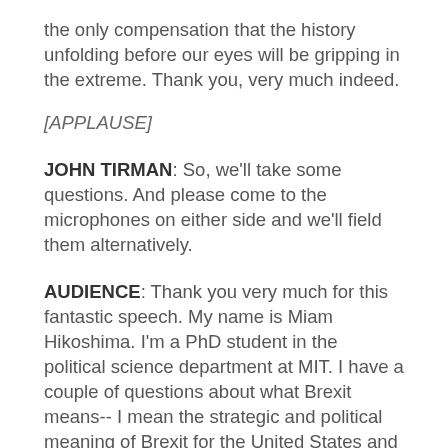the only compensation that the history unfolding before our eyes will be gripping in the extreme. Thank you, very much indeed.
[APPLAUSE]
JOHN TIRMAN: So, we'll take some questions. And please come to the microphones on either side and we'll field them alternatively.
AUDIENCE: Thank you very much for this fantastic speech. My name is Miam Hikoshima. I'm a PhD student in the political science department at MIT. I have a couple of questions about what Brexit means-- I mean the strategic and political meaning of Brexit for the United States and the world. So first of all